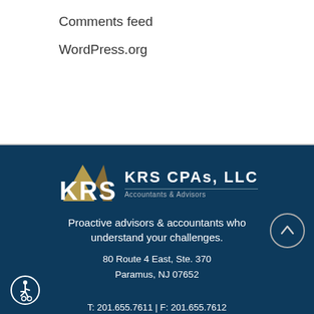Comments feed
WordPress.org
[Figure (logo): KRS CPAs, LLC logo — stylized KRS letters with gold triangle/arrow graphic and text 'KRS CPAs, LLC' with 'Accountants & Advisors' below a horizontal rule, on dark blue background]
Proactive advisors & accountants who understand your challenges.
80 Route 4 East, Ste. 370
Paramus, NJ 07652
T: 201.655.7611 | F: 201.655.7612